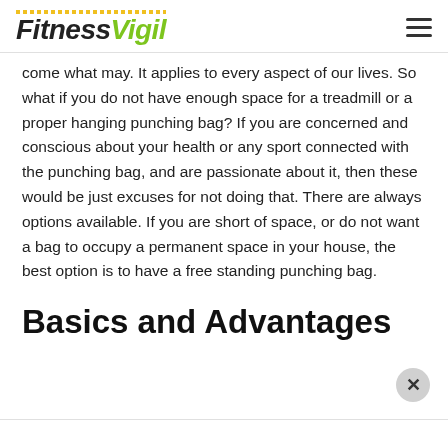FitnessVigil
come what may. It applies to every aspect of our lives. So what if you do not have enough space for a treadmill or a proper hanging punching bag? If you are concerned and conscious about your health or any sport connected with the punching bag, and are passionate about it, then these would be just excuses for not doing that. There are always options available. If you are short of space, or do not want a bag to occupy a permanent space in your house, the best option is to have a free standing punching bag.
Basics and Advantages